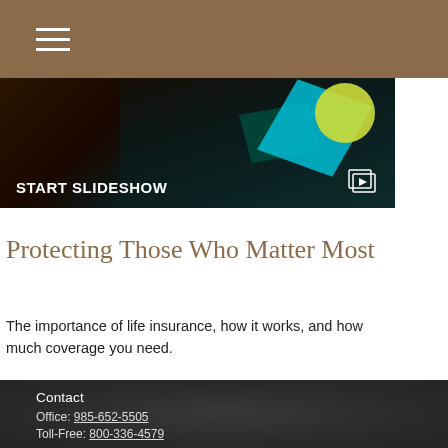[Figure (screenshot): Dark-toned hero image with abstract colored geometric shapes (teal, yellow-green) against a dark background, suggesting a tablet/technology theme. White text overlay reads START SLIDESHOW with a slideshow icon in the bottom right corner.]
Protecting Those Who Matter Most
The importance of life insurance, how it works, and how much coverage you need.
Contact
Office: 985-652-5505
Toll-Free: 800-336-4579